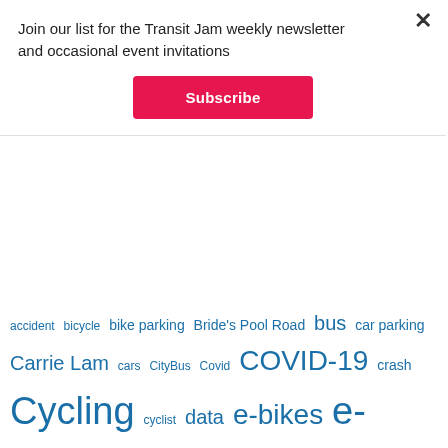Join our list for the Transit Jam weekly newsletter and occasional event invitations
Subscribe
accident bicycle bike parking Bride's Pool Road bus car parking Carrie Lam cars CityBus Covid COVID-19 crash Cycling cyclist data e-bikes e-mobility e-scooters electric bus enforcement EPD EV EVs fatal ferry Frank Chan Fan Frankie Yick Chi-ming Goldensun Hong Kong Hong Kong Cycling Alliance Hung Hom illegal parking John Lee Kai Tak KMB Kwun Tong Lamma Island Lantau LegCo Martin Turner minibus motorcycle MTR Mui Wo Nathan Road New Energy Transport Fund Ombudsman parking Paul Bromley Paul Zimmerman pedestrian pedestrians Pilot Green Transport Fund police Public Transport Rod Minibus road safety Sai Kung Sha Tin Sheung